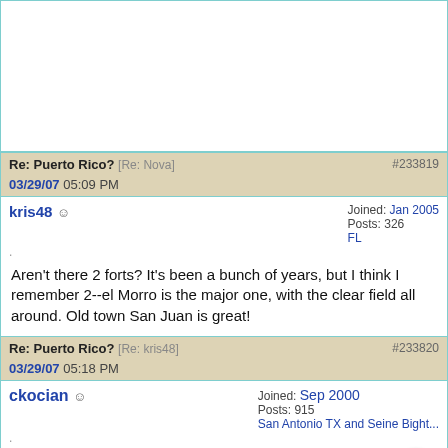[Figure (other): Advertisement banner placeholder (white space)]
Re: Puerto Rico? [Re: Nova]   #233819
03/29/07 05:09 PM
kris48   Joined: Jan 2005
Posts: 326
FL
Aren't there 2 forts? It's been a bunch of years, but I think I remember 2--el Morro is the major one, with the clear field all around. Old town San Juan is great!
Re: Puerto Rico? [Re: kris48]   #233820
03/29/07 05:18 PM
ckocian   Joined: Sep 2000
Posts: 915
San Antonio TX and Seine Bight...
There is a castle compound down the way from El Morro. St. Something-or-Other, can't remember which.